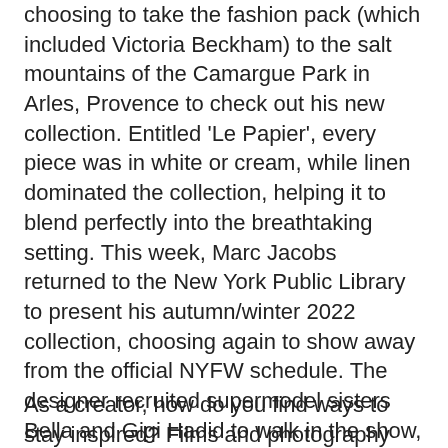choosing to take the fashion pack (which included Victoria Beckham) to the salt mountains of the Camargue Park in Arles, Provence to check out his new collection. Entitled 'Le Papier', every piece was in white or cream, while linen dominated the collection, helping it to blend perfectly into the breathtaking setting. This week, Marc Jacobs returned to the New York Public Library to present his autumn/winter 2022 collection, choosing again to show away from the official NYFW schedule. The designer recruited supermodel sisters Bella and Gigi Hadid to walk in the show, where they strutted their stuff in enormous platforms, elbow-length gloves, layered knitwear and duvet dresses. The collection was inspired by a quote from German philosopher Friedrich Nietzsche: We have art in order not to die of the truth.
As a creator, how do you find ways to stay inspired? Films and photography inspire me, they're both